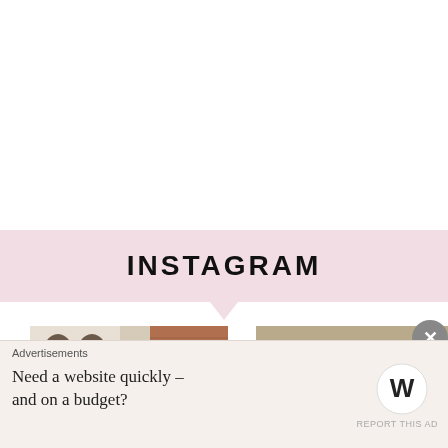INSTAGRAM
[Figure (photo): Partial photo showing a person in front of a door with arched windows and brick exterior]
[Figure (photo): Partial tan/beige banner or image on the right side]
Advertisements
Need a website quickly – and on a budget?
[Figure (logo): WordPress logo]